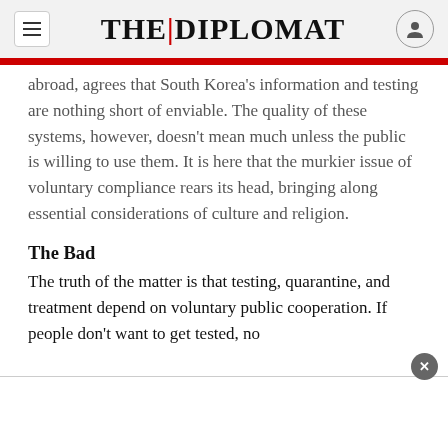THE DIPLOMAT
Every expert one's spoken to, domestic and abroad, agrees that South Korea's information and testing are nothing short of enviable. The quality of these systems, however, doesn't mean much unless the public is willing to use them. It is here that the murkier issue of voluntary compliance rears its head, bringing along essential considerations of culture and religion.
The Bad
The truth of the matter is that testing, quarantine, and treatment depend on voluntary public cooperation. If people don't want to get tested, no